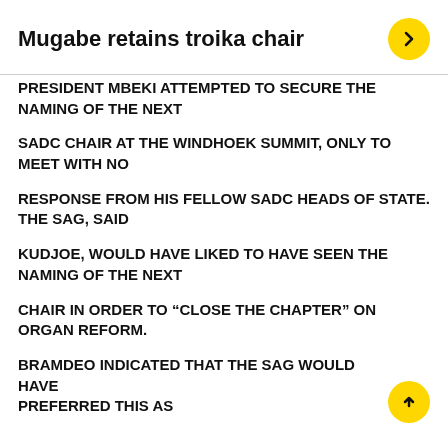Mugabe retains troika chair
PRESIDENT MBEKI ATTEMPTED TO SECURE THE NAMING OF THE NEXT
SADC CHAIR AT THE WINDHOEK SUMMIT, ONLY TO MEET WITH NO
RESPONSE FROM HIS FELLOW SADC HEADS OF STATE. THE SAG, SAID
KUDJOE, WOULD HAVE LIKED TO HAVE SEEN THE NAMING OF THE NEXT
CHAIR IN ORDER TO “CLOSE THE CHAPTER” ON ORGAN REFORM.
BRAMDEO INDICATED THAT THE SAG WOULD HAVE PREFERRED THIS AS